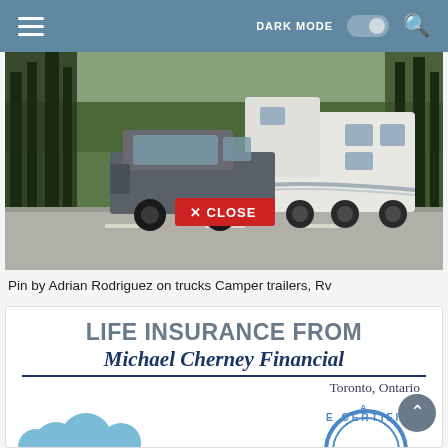DARK MODE [toggle] [search]
[Figure (photo): A truck towing a large white fifth-wheel RV trailer on a road surrounded by trees, with a red CLOSE button overlay]
Pin by Adrian Rodriguez on trucks Camper trailers, Rv
[Figure (illustration): Life Insurance advertisement card for Michael Cherney Financial, Toronto, Ontario, with a certificate badge partially visible at bottom]
LIFE INSURANCE FROM
Michael Cherney Financial
Toronto, Ontario